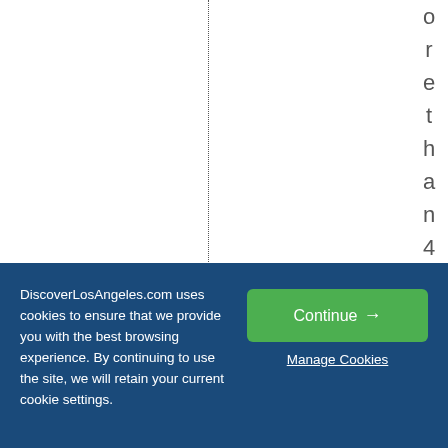o r e t h a n 4 0 i n t e r a c t
DiscoverLosAngeles.com uses cookies to ensure that we provide you with the best browsing experience. By continuing to use the site, we will retain your current cookie settings.
Continue →
Manage Cookies